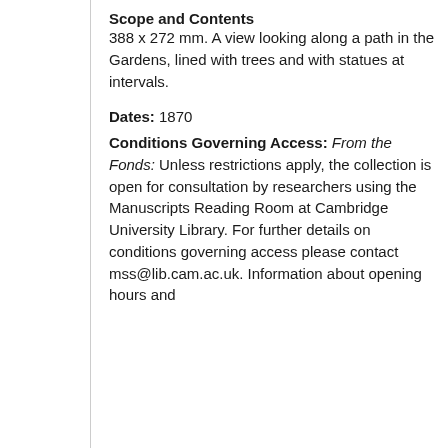Scope and Contents
388 x 272 mm. A view looking along a path in the Gardens, lined with trees and with statues at intervals.
Dates: 1870
Conditions Governing Access: From the Fonds: Unless restrictions apply, the collection is open for consultation by researchers using the Manuscripts Reading Room at Cambridge University Library. For further details on conditions governing access please contact mss@lib.cam.ac.uk. Information about opening hours and